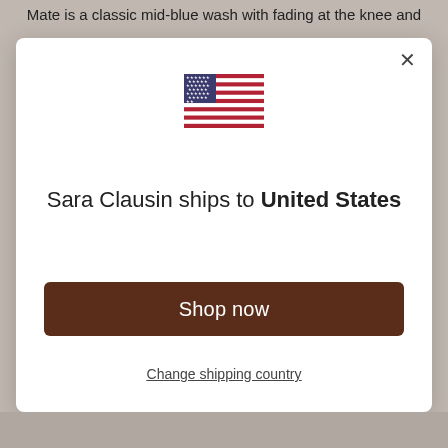Mate is a classic mid-blue wash with fading at the knee and
[Figure (illustration): US flag icon centered in modal]
Sara Clausin ships to United States
Shop in USD $
Get shipping options for United States
Shop now
Change shipping country